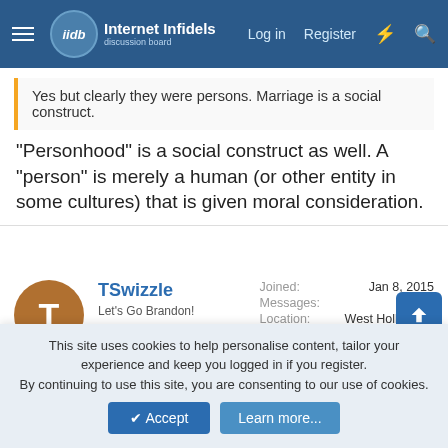Internet Infidels — Log in  Register
Yes but clearly they were persons. Marriage is a social construct.
"Personhood" is a social construct as well. A "person" is merely a human (or other entity in some cultures) that is given moral consideration.
TSwizzle
Let's Go Brandon!
Joined: Jan 8, 2015
Messages: 6,767
Location: West Hollywood
Gender: Male
Basic Beliefs: Atheist
Oct 16, 2019  #36
This site uses cookies to help personalise content, tailor your experience and keep you logged in if you register.
By continuing to use this site, you are consenting to our use of cookies.